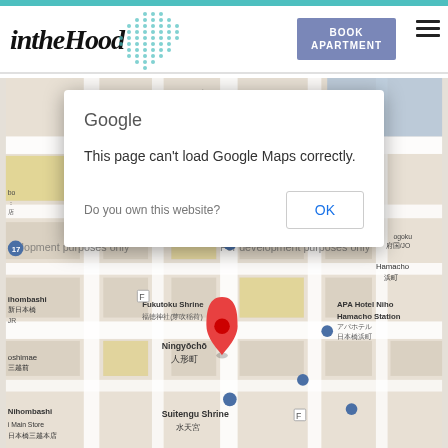[Figure (logo): intheHood logo with dotted teal circle graphic and italic bold text]
[Figure (screenshot): Google Maps error dialog overlay on a map of Ningyocho/Nihombashi area in Tokyo. Dialog reads: Google / This page can't load Google Maps correctly. / Do you own this website? / OK button. Map shows streets in Japanese and English with a red location pin marker.]